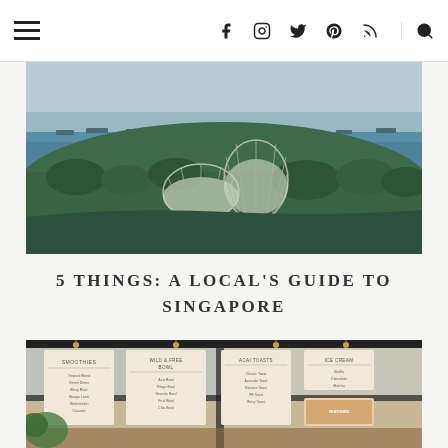Navigation bar with hamburger menu, social icons (Facebook, Instagram, Twitter, Pinterest, RSS), and search icon
[Figure (photo): Aerial view of Singapore's Gardens by the Bay with the distinctive dome-shaped conservatories (Flower Dome and Cloud Forest) visible in the foreground, surrounded by lush greenery and a bay/harbor with ships in the background under a pale sky]
5 THINGS: A LOCAL'S GUIDE TO SINGAPORE
[Figure (photo): Interior of a cafe or food hall with hanging menu boards displaying items like Smoothies, Wild & Free Bowl, Acai Toasts, Ice Cream, and other items. Industrial-style ceiling with pendant lights and glass skylights.]